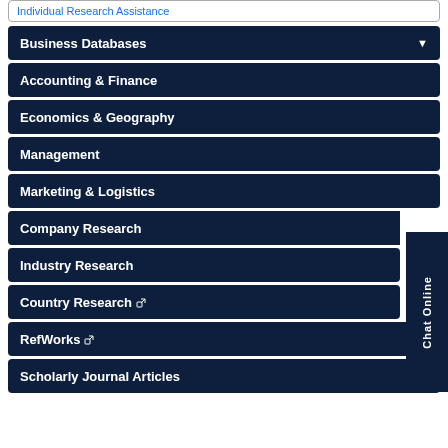Individual Research Assistance
Business Databases
Accounting & Finance
Economics & Geography
Management
Marketing & Logistics
Company Research
Industry Research
Country Research
RefWorks
Scholarly Journal Articles
Chat Online